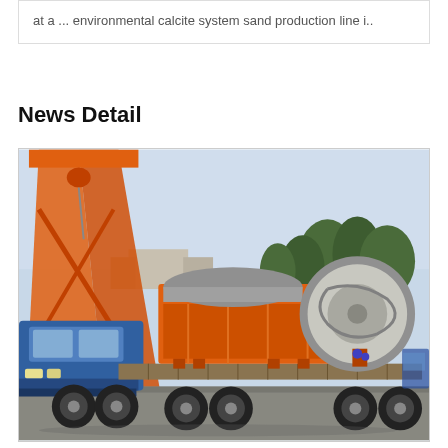at a ... environmental calcite system sand production line i..
News Detail
[Figure (photo): A blue flatbed truck loaded with large orange industrial mining/sand production equipment (spiral classifier or rotary drum), parked in an industrial yard. An orange gantry crane structure is visible in the background on the left. Trees and buildings visible in the background.]